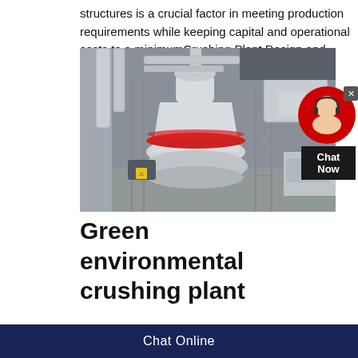structures is a crucial factor in meeting production requirements while keeping capital and operational costs to a minimumCrushing Plant Design and Layout Considerations
[Figure (photo): Industrial crushing/grinding mill machinery inside a factory building, showing a large white cylindrical cone crusher with a red stripe, surrounded by pipes, scaffolding, and industrial equipment.]
Green environmental crushing plant
Chat Online